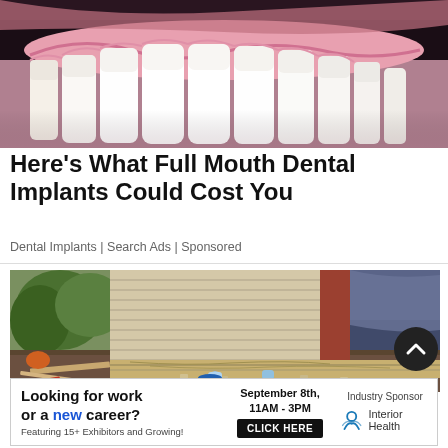[Figure (photo): Close-up photo of upper teeth and gums showing white dental crowns/veneers against a blurred dark background]
Here's What Full Mouth Dental Implants Could Cost You
Dental Implants | Search Ads | Sponsored
[Figure (photo): Exterior photo of a house being lifted or repaired showing wood siding, support posts, exposed foundation, construction materials and debris on the ground, with trees visible in background]
Looking for work or a new career? Featuring 15+ Exhibitors and Growing! September 8th, 11AM - 3PM CLICK HERE Industry Sponsor Interior Health